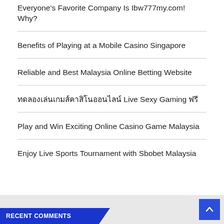Everyone's Favorite Company Is Ibw777my.com! Why?
Benefits of Playing at a Mobile Casino Singapore
Reliable and Best Malaysia Online Betting Website
ทดลองเล่นเกมส์คาสิโนออนไลน์ Live Sexy Gaming ฟรี
Play and Win Exciting Online Casino Game Malaysia
Enjoy Live Sports Tournament with Sbobet Malaysia
RECENT COMMENTS